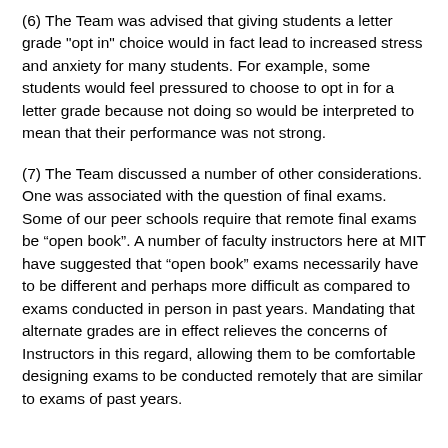(6) The Team was advised that giving students a letter grade "opt in" choice would in fact lead to increased stress and anxiety for many students. For example, some students would feel pressured to choose to opt in for a letter grade because not doing so would be interpreted to mean that their performance was not strong.
(7) The Team discussed a number of other considerations. One was associated with the question of final exams. Some of our peer schools require that remote final exams be “open book”. A number of faculty instructors here at MIT have suggested that “open book” exams necessarily have to be different and perhaps more difficult as compared to exams conducted in person in past years. Mandating that alternate grades are in effect relieves the concerns of Instructors in this regard, allowing them to be comfortable designing exams to be conducted remotely that are similar to exams of past years.